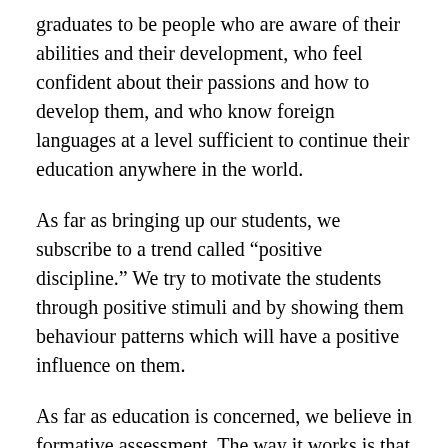graduates to be people who are aware of their abilities and their development, who feel confident about their passions and how to develop them, and who know foreign languages at a level sufficient to continue their education anywhere in the world.
As far as bringing up our students, we subscribe to a trend called “positive discipline.” We try to motivate the students through positive stimuli and by showing them behaviour patterns which will have a positive influence on them.
As far as education is concerned, we believe in formative assessment. The way it works is that each child is treated individually and their marks are not just empty numbers but references to the level of development at which they’re at in specific periods of time. Very often they are descriptive in nature and show the students what they have been able to achieve